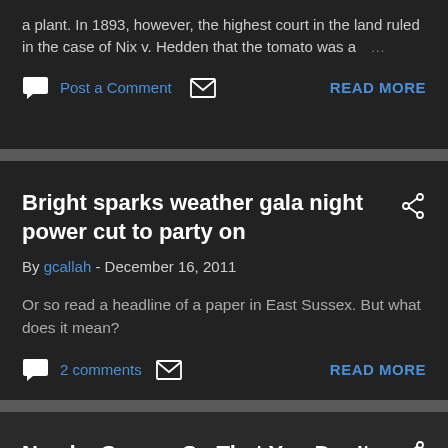a plant. In 1893, however, the highest court in the land ruled in the case of Nix v. Hedden that the tomato was a ...
Post a Comment
READ MORE
Bright sparks weather gala night power cut to party on
By gcallah - December 16, 2011
Or so read a headline of a paper in East Sussex. But what does it mean?
2 comments
READ MORE
Need a Course So That You Don't